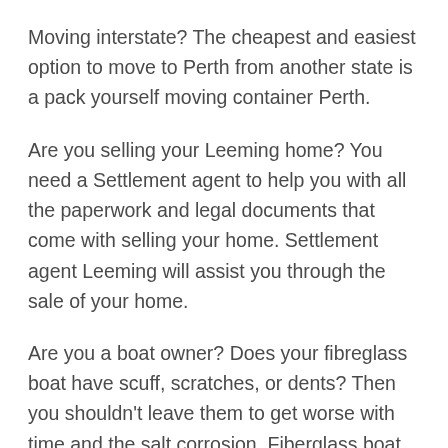Moving interstate? The cheapest and easiest option to move to Perth from another state is a pack yourself moving container Perth.
Are you selling your Leeming home? You need a Settlement agent to help you with all the paperwork and legal documents that come with selling your home. Settlement agent Leeming will assist you through the sale of your home.
Are you a boat owner? Does your fibreglass boat have scuff, scratches, or dents? Then you shouldn't leave them to get worse with time and the salt corrosion. Fiberglass boat scratch repair Leeming can make sure your boat is safe and beautiful.